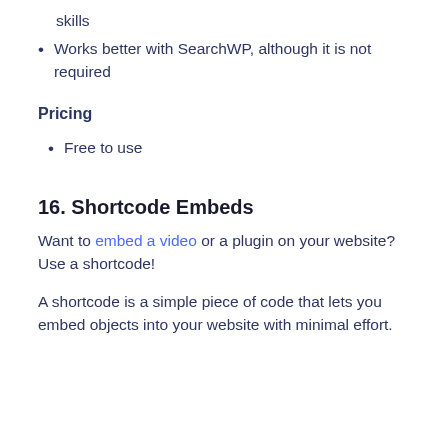skills
Works better with SearchWP, although it is not required
Pricing
Free to use
16. Shortcode Embeds
Want to embed a video or a plugin on your website? Use a shortcode!
A shortcode is a simple piece of code that lets you embed objects into your website with minimal effort.